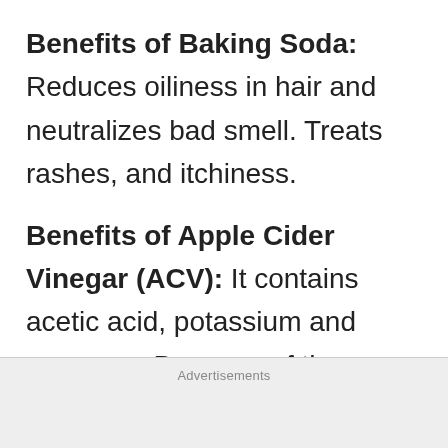Benefits of Baking Soda: Reduces oiliness in hair and neutralizes bad smell. Treats rashes, and itchiness.
Benefits of Apple Cider Vinegar (ACV): It contains acetic acid, potassium and enzymes. Because of those qualities, ACV balances the acid base scalp and alkalizes it. Removes dead skin cells from the scalp, cures
Advertisements